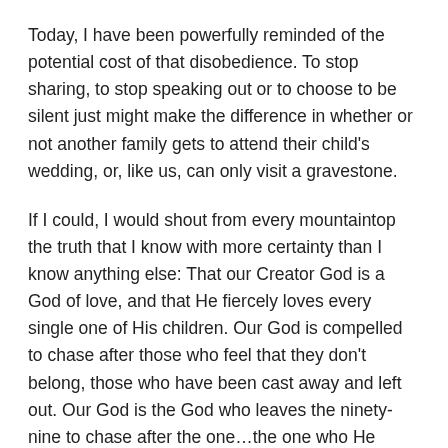Today, I have been powerfully reminded of the potential cost of that disobedience. To stop sharing, to stop speaking out or to choose to be silent just might make the difference in whether or not another family gets to attend their child's wedding, or, like us, can only visit a gravestone.
If I could, I would shout from every mountaintop the truth that I know with more certainty than I know anything else: That our Creator God is a God of love, and that He fiercely loves every single one of His children. Our God is compelled to chase after those who feel that they don't belong, those who have been cast away and left out. Our God is the God who leaves the ninety-nine to chase after the one…the one who He loves with unfathomable passion, and with whom He is never disgusted.